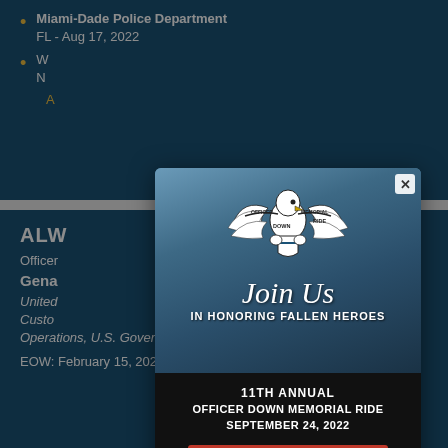Florida Department of Law Enforcement FL - Aug 20, 2022
Miami-Dade Police Department FL - Aug 17, 2022
W... N...
A...
ALW...
Officer...
Gena...
United... Customs... Operations, U.S. Government
EOW: February 15, 2021
[Figure (other): Officer Down Memorial Ride popup modal with eagle logo, 'Join Us IN HONORING FALLEN HEROES', '11TH ANNUAL OFFICER DOWN MEMORIAL RIDE SEPTEMBER 24, 2022', and a 'REGISTER NOW' red button. Background shows motorcycle rally photo.]